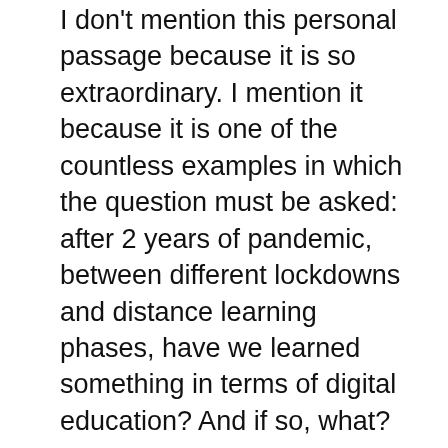I don't mention this personal passage because it is so extraordinary. I mention it because it is one of the countless examples in which the question must be asked: after 2 years of pandemic, between different lockdowns and distance learning phases, have we learned something in terms of digital education? And if so, what?
About the expert
Stephanie zu Guttenberg has been a well-known expert, author, and sought-after speaker for digital education and media education for over 20 years. One of the goals of her work is the risks, challenges and dangers that digitization poses for children and their families. Zu Guttenberg would like